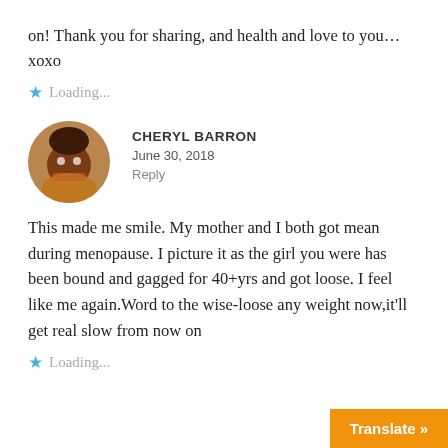on! Thank you for sharing, and health and love to you…xoxo
Loading...
CHERYL BARRON
June 30, 2018
Reply
This made me smile. My mother and I both got mean during menopause. I picture it as the girl you were has been bound and gagged for 40+yrs and got loose. I feel like me again.Word to the wise-loose any weight now,it'll get real slow from now on
Loading...
Translate »